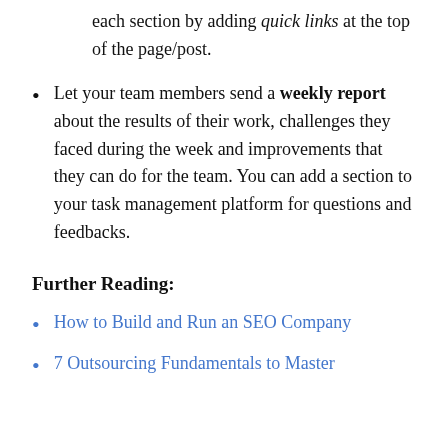each section by adding quick links at the top of the page/post.
Let your team members send a weekly report about the results of their work, challenges they faced during the week and improvements that they can do for the team. You can add a section to your task management platform for questions and feedbacks.
Further Reading:
How to Build and Run an SEO Company
7 Outsourcing Fundamentals to Master